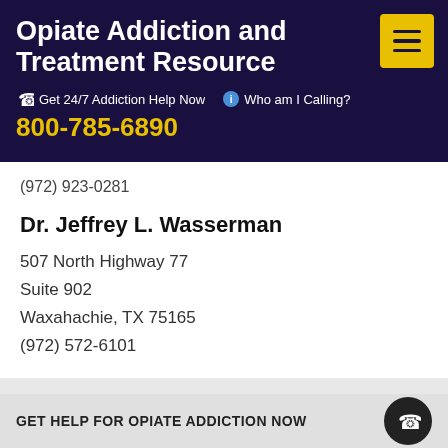Opiate Addiction and Treatment Resource
Get 24/7 Addiction Help Now
800-785-6890
Who am I Calling?
(972) 923-0281
Dr. Jeffrey L. Wasserman
507 North Highway 77
Suite 902
Waxahachie, TX 75165
(972) 572-6101
Webster
Watershed Addiction Treatment Programs
GET HELP FOR OPIATE ADDICTION NOW